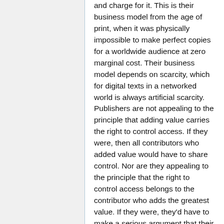and charge for it. This is their business model from the age of print, when it was physically impossible to make perfect copies for a worldwide audience at zero marginal cost. Their business model depends on scarcity, which for digital texts in a networked world is always artificial scarcity. Publishers are not appealing to the principle that adding value carries the right to control access. If they were, then all contributors who added value would have to share control. Nor are they appealing to the principle that the right to control access belongs to the contributor who adds the greatest value. If they were, they'd have to make a serious argument that their